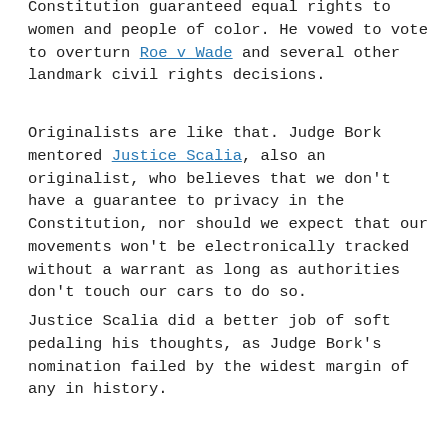Constitution guaranteed equal rights to women and people of color. He vowed to vote to overturn Roe v Wade and several other landmark civil rights decisions.
Originalists are like that. Judge Bork mentored Justice Scalia, also an originalist, who believes that we don't have a guarantee to privacy in the Constitution, nor should we expect that our movements won't be electronically tracked without a warrant as long as authorities don't touch our cars to do so.
Justice Scalia did a better job of soft pedaling his thoughts, as Judge Bork's nomination failed by the widest margin of any in history.